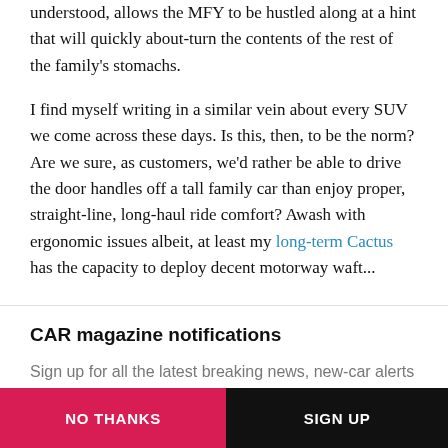understood, allows the MFY to be hustled along at a hint that will quickly about-turn the contents of the rest of the family's stomachs.
I find myself writing in a similar vein about every SUV we come across these days. Is this, then, to be the norm? Are we sure, as customers, we'd rather be able to drive the door handles off a tall family car than enjoy proper, straight-line, long-haul ride comfort? Awash with ergonomic issues albeit, at least my long-term Cactus has the capacity to deploy decent motorway waft...
CAR magazine notifications
Sign up for all the latest breaking news, new-car alerts and the best electric buying advice
NO THANKS
SIGN UP